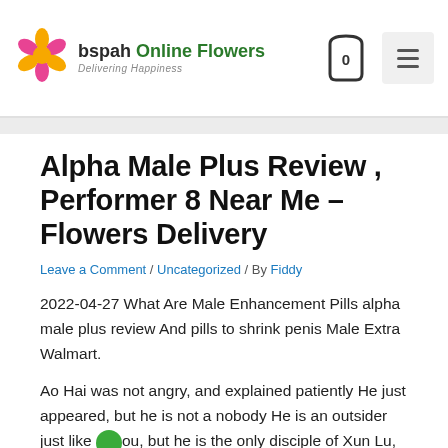bspah Online Flowers Delivering Happiness
Alpha Male Plus Review , Performer 8 Near Me – Flowers Delivery
Leave a Comment / Uncategorized / By Fiddy
2022-04-27 What Are Male Enhancement Pills alpha male plus review And pills to shrink penis Male Extra Walmart.
Ao Hai was not angry, and explained patiently He just appeared, but he is not a nobody He is an outsider just like you, but he is the only disciple of Xun Lu, the master of magic grain refining, appointed by the heroic Pang Jing.